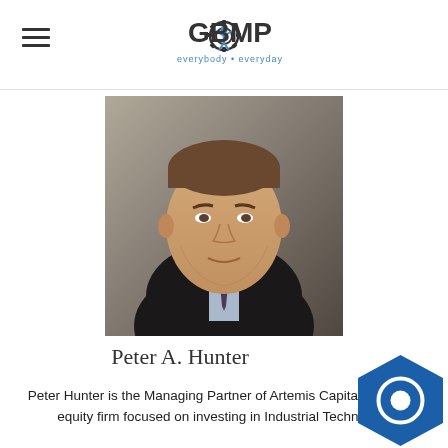GBMP - everybody • everyday
[Figure (photo): Professional headshot of Peter A. Hunter, a middle-aged man in a dark suit with a tie, photographed against a blurred architectural background.]
Peter A. Hunter
Peter Hunter is the Managing Partner of Artemis Capital, a private equity firm focused on investing in Industrial Technology